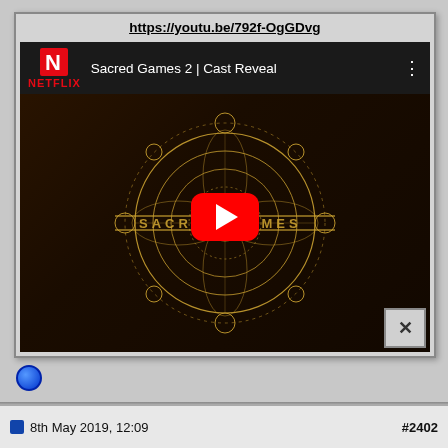https://youtu.be/792f-OgGDvg
[Figure (screenshot): YouTube video thumbnail for 'Sacred Games 2 | Cast Reveal' on Netflix channel. Dark brown background with golden mandala/geometric Sacred Games artwork. Red YouTube play button overlay in center. Netflix logo (red N) and text in top-left of video player.]
8th May 2019, 12:09   #2402